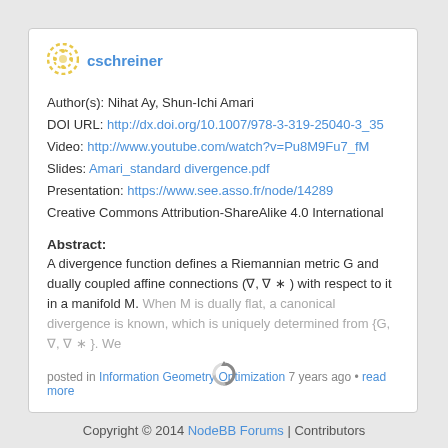cschreiner
Author(s): Nihat Ay, Shun-Ichi Amari
DOI URL: http://dx.doi.org/10.1007/978-3-319-25040-3_35
Video: http://www.youtube.com/watch?v=Pu8M9Fu7_fM
Slides: Amari_standard divergence.pdf
Presentation: https://www.see.asso.fr/node/14289
Creative Commons Attribution-ShareAlike 4.0 International
Abstract:
A divergence function defines a Riemannian metric G and dually coupled affine connections (∇, ∇ ∗ ) with respect to it in a manifold M. When M is dually flat, a canonical divergence is known, which is uniquely determined from {G, ∇, ∇ ∗ }. We
posted in Information Geometry Optimization 7 years ago • read more
[Figure (illustration): Loading spinner / refresh icon]
Copyright © 2014 NodeBB Forums | Contributors